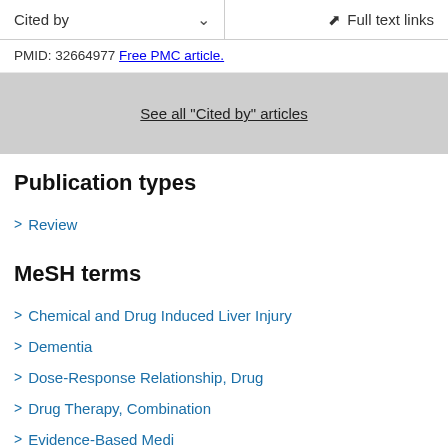Cited by | Full text links
PMID: 32664977 Free PMC article.
See all "Cited by" articles
Publication types
Review
MeSH terms
Chemical and Drug Induced Liver Injury
Dementia
Dose-Response Relationship, Drug
Drug Therapy, Combination